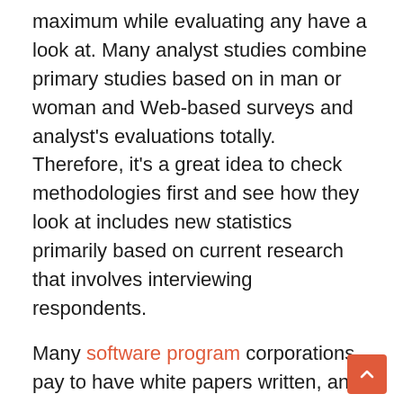maximum while evaluating any have a look at. Many analyst studies combine primary studies based on in man or woman and Web-based surveys and analyst's evaluations totally. Therefore, it's a great idea to check methodologies first and see how they look at includes new statistics primarily based on current research that involves interviewing respondents.
Many software program corporations pay to have white papers written, and studies are finished if a preceding observation doesn't exactly meet their needs. Writing white papers and researching enterprise software vendor clients is a completely beneficial enterprise formants enterprise analyst companies. Ethical enterprise analysts will often insist that a disclaimer is covered in the white paper and on the internet site mentioning that they and their firms had